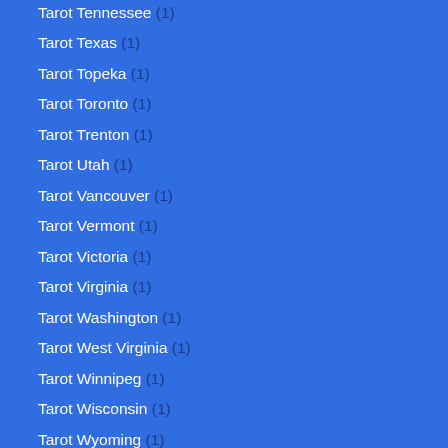Tarot Tennessee (1)
Tarot Texas (1)
Tarot Topeka (1)
Tarot Toronto (1)
Tarot Trenton (1)
Tarot Utah (1)
Tarot Vancouver (1)
Tarot Vermont (1)
Tarot Victoria (1)
Tarot Virginia (1)
Tarot Washington (1)
Tarot West Virginia (1)
Tarot Winnipeg (1)
Tarot Wisconsin (1)
Tarot Wyoming (1)
Tarot Yellowknife (1)